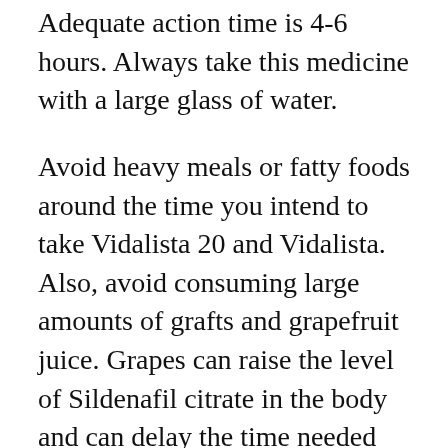Adequate action time is 4-6 hours. Always take this medicine with a large glass of water.
Avoid heavy meals or fatty foods around the time you intend to take Vidalista 20 and Vidalista. Also, avoid consuming large amounts of grafts and grapefruit juice. Grapes can raise the level of Sildenafil citrate in the body and can delay the time needed for the stimulant to function.
Alcohol will also reduce the effectiveness of this stimulant. Sildenafil may lower blood pressure, and its combination with alcohol may further increase this effect. You may have several possible symptoms, such as